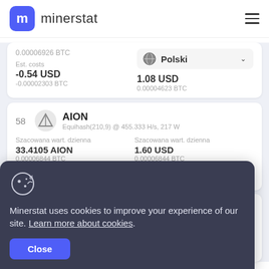[Figure (logo): Minerstat logo with blue rounded square icon containing 'm' and brand name]
0.00006926 BTC
Est. costs
-0.54 USD
-0.00002303 BTC
1.08 USD
0.00004623 BTC
[Figure (screenshot): Polski language dropdown selector with globe icon]
58
[Figure (logo): AION coin logo]
AION
Equihash(210,9) @ 455.333 H/s, 217 W
Szacowana wart. dzienna
33.4105 AION
0.00006844 BTC
Szacowana wart. dzienna
1.60 USD
0.00006844 BTC
Est. costs
-0.52 USD
Szacowany zysk
1.08 USD
59
NH CuckooCycle
Szacowana wart. dzienna
0.00006937 BTC
Szacowana wart. dzienna
1.62 USD
Est. costs
Szacowany zysk
Minerstat uses cookies to improve your experience of our site. Learn more about cookies.
Close